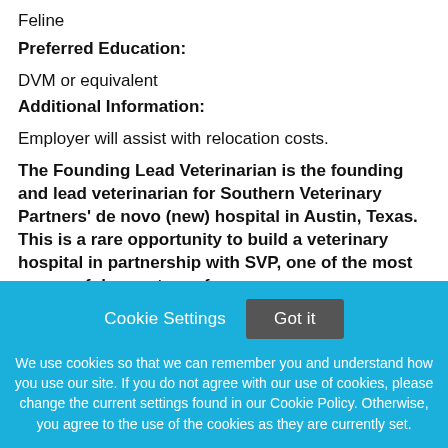Feline
Preferred Education:
DVM or equivalent
Additional Information:
Employer will assist with relocation costs.
The Founding Lead Veterinarian is the founding and lead veterinarian for Southern Veterinary Partners' de novo (new) hospital in Austin, Texas. This is a rare opportunity to build a veterinary hospital in partnership with SVP, one of the most successful operators of
Cookie Settings   Got it

We use cookies so that we can remember you and understand how you use our site. If you do not agree with our use of cookies, please change the current settings found in our Cookie Policy. Otherwise, you agree to the use of the cookies as they are currently set.